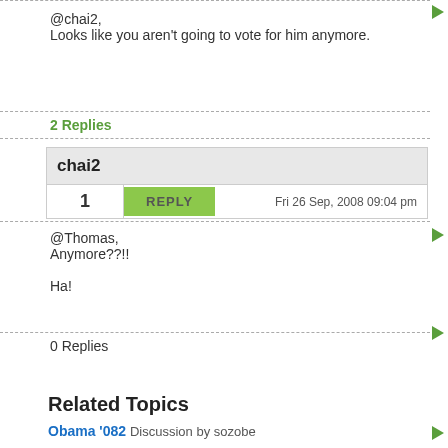@chai2,
Looks like you aren't going to vote for him anymore.
2 Replies
chai2
1  REPLY  Fri 26 Sep, 2008 09:04 pm
@Thomas,
Anymore??!!

Ha!
0 Replies
Related Topics
Obama '082  Discussion by sozobe